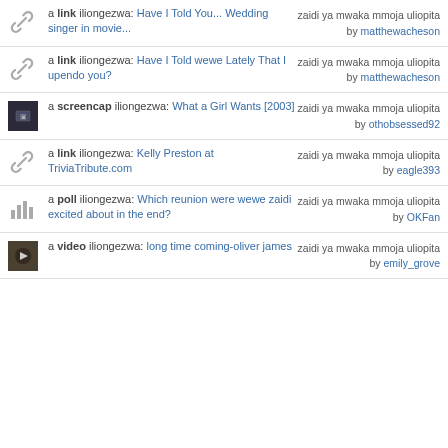a link iliongezwa: Have I Told You... Wedding singer in movie... | zaidi ya mwaka mmoja uliopita by matthewacheson
a link iliongezwa: Have I Told wewe Lately That I upendo you? | zaidi ya mwaka mmoja uliopita by matthewacheson
a screencap iliongezwa: What a Girl Wants [2003] | zaidi ya mwaka mmoja uliopita by othobsessed92
a link iliongezwa: Kelly Preston at TriviaTribute.com | zaidi ya mwaka mmoja uliopita by eagle393
a poll iliongezwa: Which reunion were wewe zaidi excited about in the end? | zaidi ya mwaka mmoja uliopita by OKFan
a video iliongezwa: long time coming-oliver james | zaidi ya mwaka mmoja uliopita by emily_grove